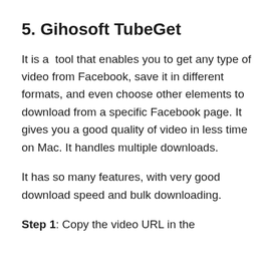5. Gihosoft TubeGet
It is a  tool that enables you to get any type of video from Facebook, save it in different formats, and even choose other elements to download from a specific Facebook page. It gives you a good quality of video in less time on Mac. It handles multiple downloads.
It has so many features, with very good download speed and bulk downloading.
Step 1: Copy the video URL in the